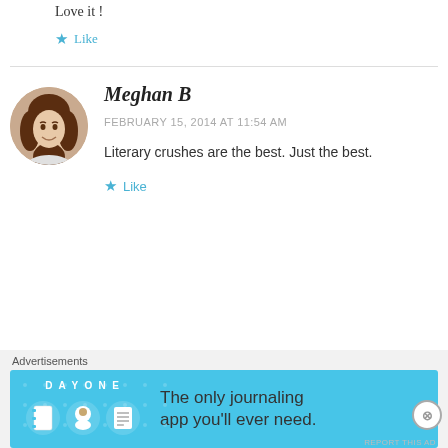Love it !
★ Like
[Figure (photo): Circular avatar photo of Meghan B, a woman with brown wavy hair smiling]
Meghan B
FEBRUARY 15, 2014 AT 11:54 AM
Literary crushes are the best. Just the best.
★ Like
Advertisements
[Figure (screenshot): Day One journaling app advertisement banner. Blue background with DAY ONE text and three app icons. Tagline: The only journaling app you'll ever need.]